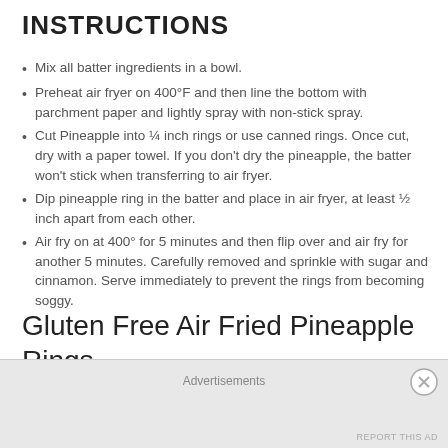INSTRUCTIONS
Mix all batter ingredients in a bowl.
Preheat air fryer on 400°F and then line the bottom with parchment paper and lightly spray with non-stick spray.
Cut Pineapple into ¼ inch rings or use canned rings. Once cut, dry with a paper towel. If you don't dry the pineapple, the batter won't stick when transferring to air fryer.
Dip pineapple ring in the batter and place in air fryer, at least ½ inch apart from each other.
Air fry on at 400° for 5 minutes and then flip over and air fry for another 5 minutes. Carefully removed and sprinkle with sugar and cinnamon. Serve immediately to prevent the rings from becoming soggy.
Gluten Free Air Fried Pineapple Rings
Advertisements